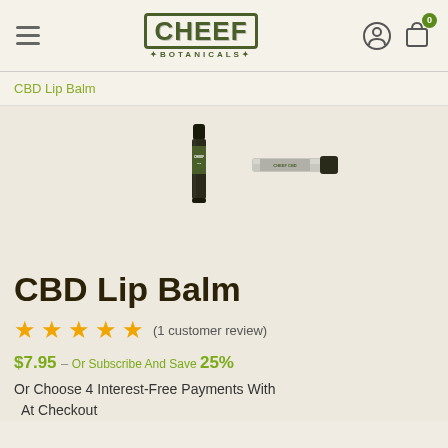CHEEF BOTANICALS — navigation header with hamburger menu, logo, user icon, and cart (0 items)
CBD Lip Balm
[Figure (photo): Two CBD Lip Balm tubes from Cheef Botanicals — one standing upright (dark label) and one lying on its side (light/silver label)]
CBD Lip Balm
★★★★★ (1 customer review)
$7.95 – Or Subscribe And Save 25%
Or Choose 4 Interest-Free Payments With At Checkout